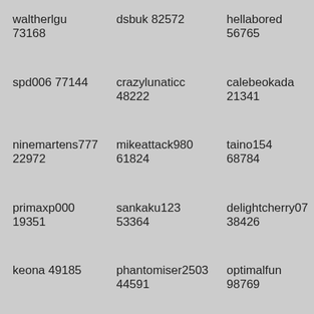waltherlgu 73168
dsbuk 82572
hellabored 56765
spd006 77144
crazylunaticc 48222
calebeokada 21341
ninemartens777 22972
mikeattack980 61824
taino154 68784
primaxp000 19351
sankaku123 53364
delightcherry07 38426
keona 49185
phantomiser2503 44591
optimalfun 98769